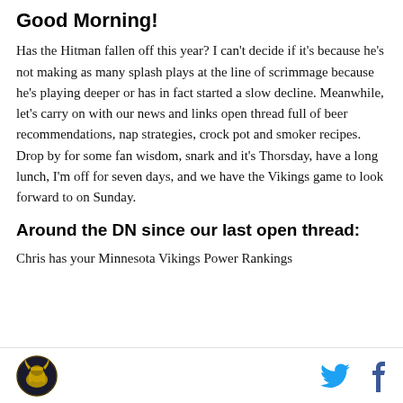Good Morning!
Has the Hitman fallen off this year? I can't decide if it's because he's not making as many splash plays at the line of scrimmage because he's playing deeper or has in fact started a slow decline. Meanwhile, let's carry on with our news and links open thread full of beer recommendations, nap strategies, crock pot and smoker recipes. Drop by for some fan wisdom, snark and it's Thorsday, have a long lunch, I'm off for seven days, and we have the Vikings game to look forward to on Sunday.
Around the DN since our last open thread:
Chris has your Minnesota Vikings Power Rankings —